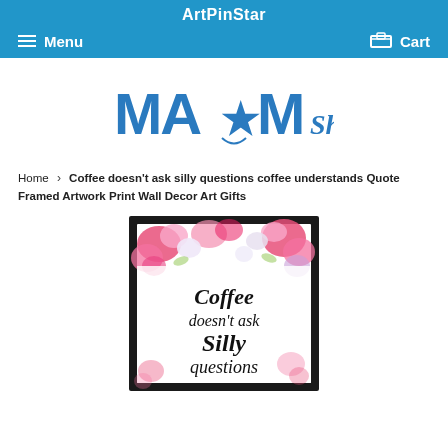ArtPinStar
Menu   Cart
[Figure (logo): MA★M Shop logo in blue text with a star design]
Home › Coffee doesn't ask silly questions coffee understands Quote Framed Artwork Print Wall Decor Art Gifts
[Figure (photo): Framed wall art print showing the text 'Coffee doesn't ask Silly questions' surrounded by pink and white floral watercolor flowers on a white background, in a black frame.]